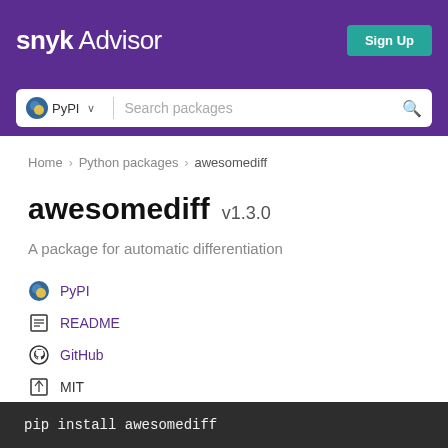snyk Advisor — Sign Up
PyPI ∨  Search packages
Home > Python packages > awesomediff
awesomediff v1.3.0
A package for automatic differentiation
PyPI
README
GitHub
MIT
Latest version published 3 years ago
pip install awesomediff